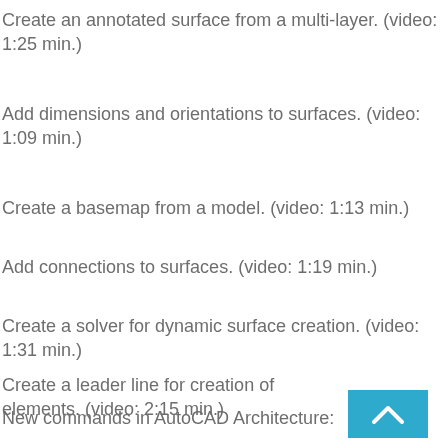Create an annotated surface from a multi-layer. (video: 1:25 min.)
Add dimensions and orientations to surfaces. (video: 1:09 min.)
Create a basemap from a model. (video: 1:13 min.)
Add connections to surfaces. (video: 1:19 min.)
Create a solver for dynamic surface creation. (video: 1:31 min.)
Create a leader line for creation of elements. (video: 2:15 min.)
New commands in AutoCAD Architecture: